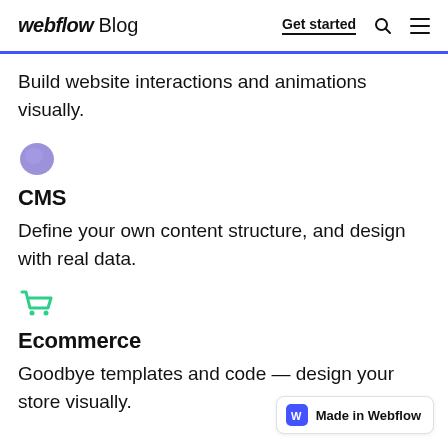webflow Blog | Get started
Build website interactions and animations visually.
[Figure (illustration): Purple rounded blob/sphere icon representing CMS feature]
CMS
Define your own content structure, and design with real data.
[Figure (illustration): Green shopping cart icon representing Ecommerce feature]
Ecommerce
Goodbye templates and code — design your store visually.